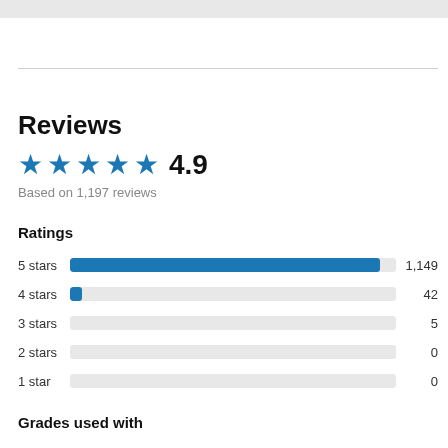Reviews
★★★★★ 4.9
Based on 1,197 reviews
Ratings
[Figure (bar-chart): Ratings]
Grades used with